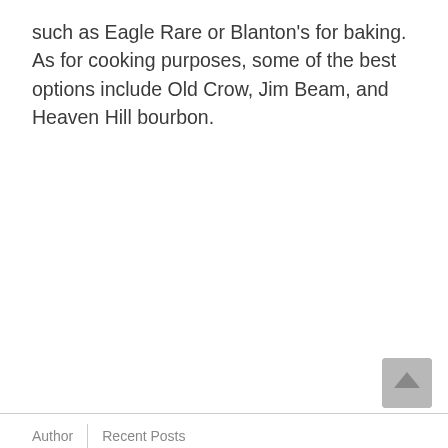such as Eagle Rare or Blanton's for baking. As for cooking purposes, some of the best options include Old Crow, Jim Beam, and Heaven Hill bourbon.
Author   Recent Posts